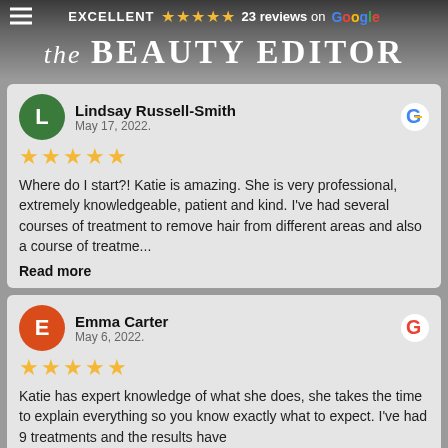EXCELLENT ★★★★★ 23 reviews on Google
the BEAUTY EDITOR
Lindsay Russell-Smith
May 17, 2022.
★★★★★
Where do I start?! Katie is amazing. She is very professional, extremely knowledgeable, patient and kind. I've had several courses of treatment to remove hair from different areas and also a course of treatme...
Read more
Emma Carter
May 6, 2022.
★★★★★
Katie has expert knowledge of what she does, she takes the time to explain everything so you know exactly what to expect. I've had 9 treatments and the results have